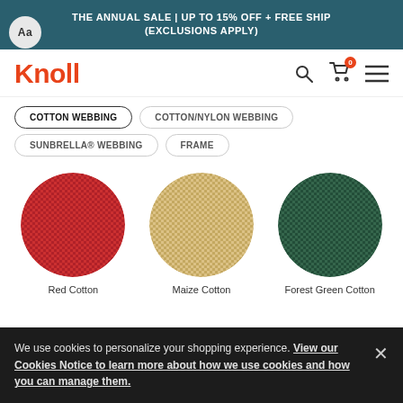THE ANNUAL SALE | UP TO 15% OFF + FREE SHIP (EXCLUSIONS APPLY)
[Figure (logo): Knoll logo in orange/red text]
COTTON WEBBING
COTTON/NYLON WEBBING
SUNBRELLA® WEBBING
FRAME
[Figure (photo): Three circular fabric swatches: Red Cotton (red woven texture), Maize Cotton (tan/beige woven texture), Forest Green Cotton (dark green woven texture)]
Red Cotton    Maize Cotton    Forest Green Cotton
We use cookies to personalize your shopping experience. View our Cookies Notice to learn more about how we use cookies and how you can manage them.